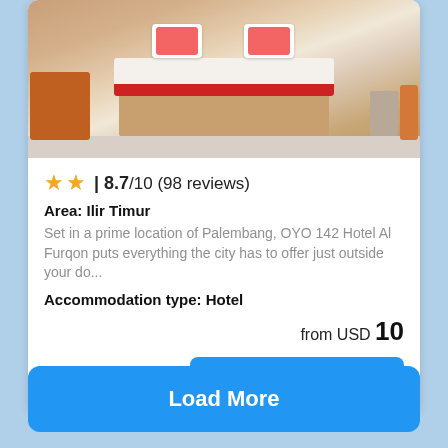[Figure (photo): Hotel room photo showing a bed with white mattress and red striped bedding, orange sofas on the left, tiled floor, and a bedside cabinet.]
★★ | 8.7/10 (98 reviews)
Area: Ilir Timur
Set in a prime location of Palembang, OYO 142 Hotel Al Furqon puts everything the city has to offer just outside your do...
Accommodation type: Hotel
from USD 10
more details ...
Load More